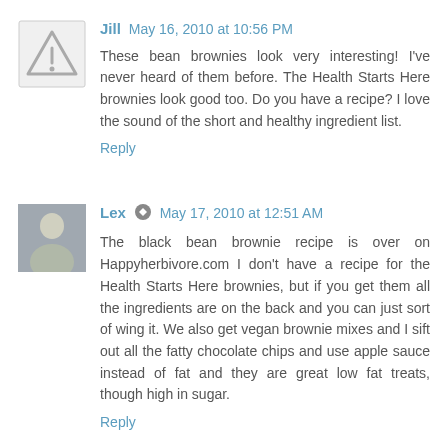Jill  May 16, 2010 at 10:56 PM
These bean brownies look very interesting! I've never heard of them before. The Health Starts Here brownies look good too. Do you have a recipe? I love the sound of the short and healthy ingredient list.
Reply
Lex  May 17, 2010 at 12:51 AM
The black bean brownie recipe is over on Happyherbivore.com I don't have a recipe for the Health Starts Here brownies, but if you get them all the ingredients are on the back and you can just sort of wing it. We also get vegan brownie mixes and I sift out all the fatty chocolate chips and use apple sauce instead of fat and they are great low fat treats, though high in sugar.
Reply